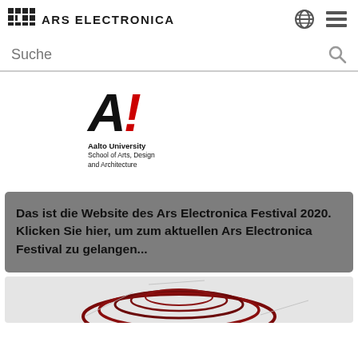ARS ELECTRONICA
Suche
[Figure (logo): Aalto University School of Arts, Design and Architecture logo — large stylized 'A!' with red exclamation mark, bold text below]
Das ist die Website des Ars Electronica Festival 2020. Klicken Sie hier, um zum aktuellen Ars Electronica Festival zu gelangen...
[Figure (illustration): Partial view of a dark red spiral/coil artwork on light grey background, bottom of page]